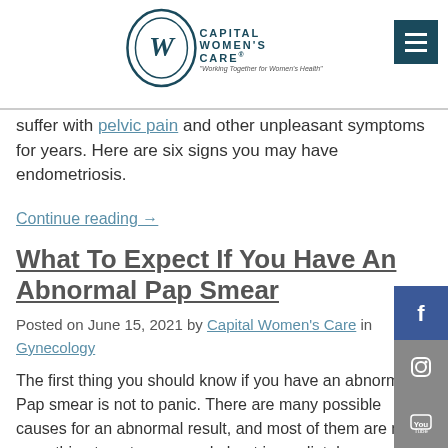Capital Women's Care – Working Together for Women's Health
Endometriosis is a challenging condition with various symptoms, mild, moderate, or severe symptoms. It is not always easy to diagnose, leaving many women to suffer with pelvic pain and other unpleasant symptoms for years. Here are six signs you may have endometriosis.
Continue reading →
What To Expect If You Have An Abnormal Pap Smear
Posted on June 15, 2021 by Capital Women's Care in Gynecology
The first thing you should know if you have an abnormal Pap smear is not to panic. There are many possible causes for an abnormal result, and most of them are not something to get concerned about immediately.